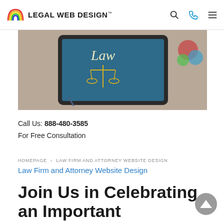LEGAL WEB DESIGN™
[Figure (photo): Tablet device displaying 'Law' text with scales of justice graphic on screen, on a wooden desk surface with office items]
Call Us: 888-480-3585
For Free Consultation
HOMEPAGE > LAW FIRM AND ATTORNEY WEBSITE DESIGN
Law Firm and Attorney Website Design
Join Us in Celebrating an Important Milestone!